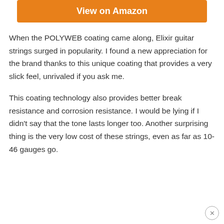[Figure (other): Orange 'View on Amazon' button]
When the POLYWEB coating came along, Elixir guitar strings surged in popularity. I found a new appreciation for the brand thanks to this unique coating that provides a very slick feel, unrivaled if you ask me.
This coating technology also provides better break resistance and corrosion resistance. I would be lying if I didn't say that the tone lasts longer too. Another surprising thing is the very low cost of these strings, even as far as 10-46 gauges go.
[Figure (other): Close/dismiss button (X in circle) at bottom right]